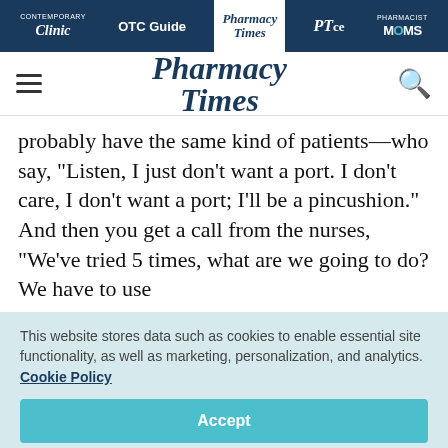Contemporary Clinic | OTC Guide | Pharmacy Times | PTce | Pharmacist MOMS
[Figure (logo): Pharmacy Times logo with hamburger menu and search icon]
probably have the same kind of patients—who say, "Listen, I just don't want a port. I don't care, I don't want a port; I'll be a pincushion." And then you get a call from the nurses, "We've tried 5 times, what are we going to do? We have to use
This website stores data such as cookies to enable essential site functionality, as well as marketing, personalization, and analytics. Cookie Policy
Accept
Deny